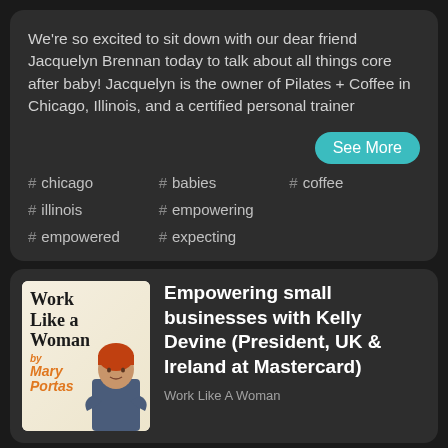We're so excited to sit down with our dear friend Jacquelyn Brennan today to talk about all things core after baby! Jacquelyn is the owner of Pilates + Coffee in Chicago, Illinois, and a certified personal trainer
# chicago
# babies
# coffee
# illinois
# empowering
# empowered
# expecting
Empowering small businesses with Kelly Devine (President, UK & Ireland at Mastercard)
Work Like A Woman